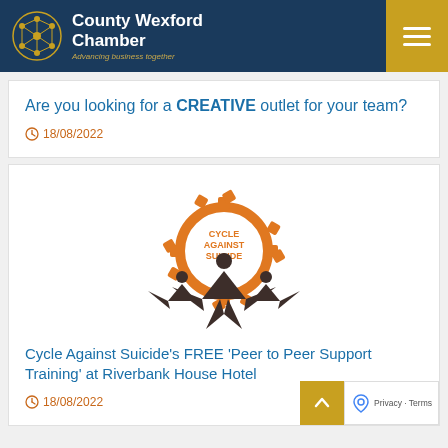County Wexford Chamber – Advancing business together
Are you looking for a CREATIVE outlet for your team?
18/08/2022
[Figure (logo): Cycle Against Suicide logo: orange gear wheel with text 'CYCLE AGAINST SUICIDE' and stylized human figures below]
Cycle Against Suicide's FREE 'Peer to Peer Support Training' at Riverbank House Hotel
18/08/2022